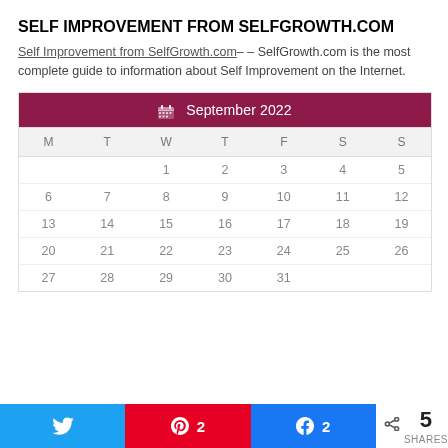SELF IMPROVEMENT FROM SELFGROWTH.COM
Self Improvement from SelfGrowth.com– – SelfGrowth.com is the most complete guide to information about Self Improvement on the Internet.
| M | T | W | T | F | S | S |
| --- | --- | --- | --- | --- | --- | --- |
|  |  | 1 | 2 | 3 | 4 | 5 |
| 6 | 7 | 8 | 9 | 10 | 11 | 12 |
| 13 | 14 | 15 | 16 | 17 | 18 | 19 |
| 20 | 21 | 22 | 23 | 24 | 25 | 26 |
| 27 | 28 | 29 | 30 | 31 |  |  |